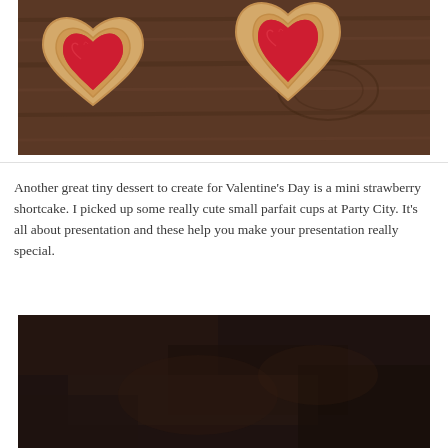[Figure (photo): Two heart-shaped shortbread cookies filled with bright red strawberry jam, placed on a dark wood surface. Valentine's Day themed baked goods.]
Another great tiny dessert to create for Valentine's Day is a mini strawberry shortcake. I picked up some really cute small parfait cups at Party City. It's all about presentation and these help you make your presentation really special.
[Figure (photo): Dark brownish background, partially visible image, appears to be the beginning of another food photo, very dark and blurred.]